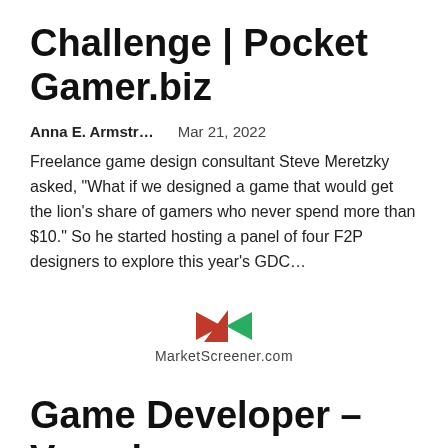Challenge | Pocket Gamer.biz
Anna E. Armstr…    Mar 21, 2022
Freelance game design consultant Steve Meretzky asked, "What if we designed a game that would get the lion's share of gamers who never spend more than $10." So he started hosting a panel of four F2P designers to explore this year's GDC…
[Figure (logo): MarketScreener.com logo with red and green triangle arrows]
Game Developer – Vampire: The Masquerade – Swansong: Your Choices Determine the